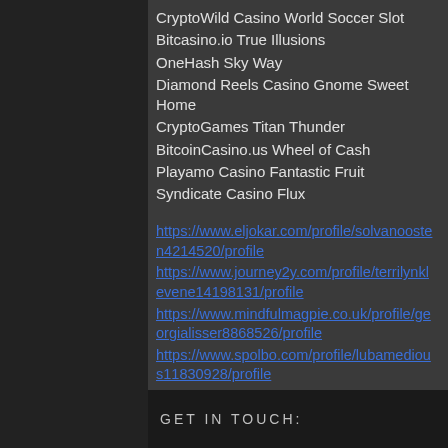CryptoWild Casino World Soccer Slot
Bitcasino.io True Illusions
OneHash Sky Way
Diamond Reels Casino Gnome Sweet Home
CryptoGames Titan Thunder
BitcoinCasino.us Wheel of Cash
Playamo Casino Fantastic Fruit
Syndicate Casino Flux
https://www.eljokar.com/profile/solvanoosten4214520/profile
https://www.journey2y.com/profile/terrilynklevene14198131/profile
https://www.mindfulmagpie.co.uk/profile/georgialisser8868526/profile
https://www.spolbo.com/profile/lubamedious11830928/profile
GET IN TOUCH: